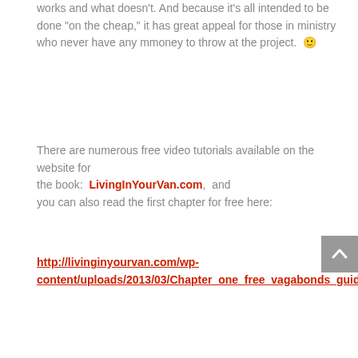works and what doesn't. And because it's all intended to be done "on the cheap," it has great appeal for those in ministry who never have any mmoney to throw at the project.  🙂
There are numerous free video tutorials available on the website for the book:  LivingInYourVan.com,  and you can also read the first chapter for free here:
http://livinginyourvan.com/wp-content/uploads/2013/03/Chapter_one_free_vagabonds_guide.pdf